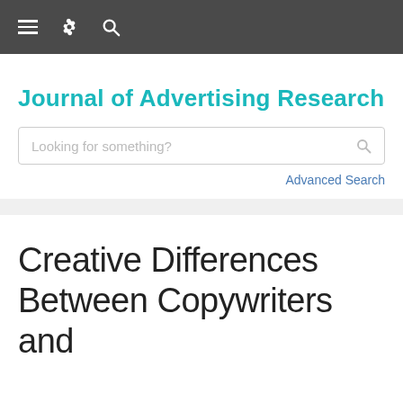≡ ⚙ 🔍
Journal of Advertising Research
Looking for something?
Advanced Search
Creative Differences Between Copywriters and